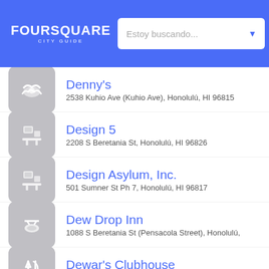[Figure (screenshot): Foursquare City Guide header with logo, search bar placeholder 'Estoy buscando...' and location 'Fairfie']
Denny's
2538 Kuhio Ave (Kuhio Ave), Honolulú, HI 96815
Design 5
2208 S Beretania St, Honolulú, HI 96826
Design Asylum, Inc.
501 Sumner St Ph 7, Honolulú, HI 96817
Dew Drop Inn
1088 S Beretania St (Pensacola Street), Honolulú,
Dewar's Clubhouse
Central Concourse (HNL Airport), Honolulú, HI 968
Diagnostic Laboratories Service
2454 S Beretania St Ste 110 (University), Honolulú